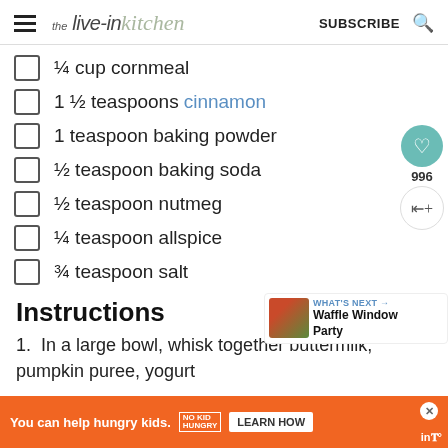the live-in kitchen | SUBSCRIBE
¼ cup cornmeal
1 ½ teaspoons cinnamon
1 teaspoon baking powder
½ teaspoon baking soda
½ teaspoon nutmeg
¼ teaspoon allspice
¾ teaspoon salt
Instructions
1. In a large bowl, whisk together buttermilk, pumpkin puree, yogurt
WHAT'S NEXT → Waffle Window Party
You can help hungry kids. NO KID HUNGRY LEARN HOW